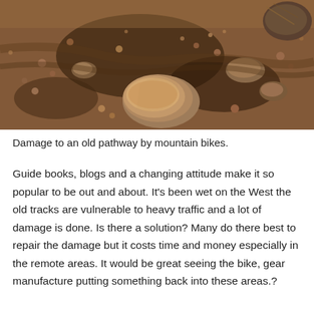[Figure (photo): Close-up photograph of damaged rocky trail/pathway showing disturbed soil, loose rocks and stones scattered across a dirt track, showing erosion damage caused by mountain bikes.]
Damage to an old pathway by mountain bikes.
Guide books, blogs and a changing attitude make it so popular to be out and about. It's been wet on the West the old tracks are vulnerable to heavy traffic and a lot of damage is done. Is there a solution? Many do there best to repair the damage but it costs time and money especially in the remote areas. It would be great seeing the bike, gear manufacture putting something back into these areas.?